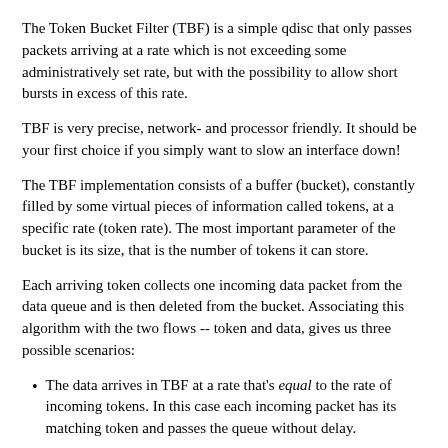The Token Bucket Filter (TBF) is a simple qdisc that only passes packets arriving at a rate which is not exceeding some administratively set rate, but with the possibility to allow short bursts in excess of this rate.
TBF is very precise, network- and processor friendly. It should be your first choice if you simply want to slow an interface down!
The TBF implementation consists of a buffer (bucket), constantly filled by some virtual pieces of information called tokens, at a specific rate (token rate). The most important parameter of the bucket is its size, that is the number of tokens it can store.
Each arriving token collects one incoming data packet from the data queue and is then deleted from the bucket. Associating this algorithm with the two flows -- token and data, gives us three possible scenarios:
The data arrives in TBF at a rate that's equal to the rate of incoming tokens. In this case each incoming packet has its matching token and passes the queue without delay.
The data arrives in TBF at a rate that's smaller than the token rate. Only a part of the tokens are deleted at output of each data packet, the rest accumulate that...